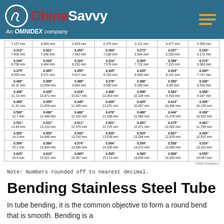ChinaSavvy — An OMNIDEX company
| 7.137 mm | 0.883 mm | 0.629 mm | 0.375 mm | 0.121 mm | 0.477 mm | 5.358 mm |
| 0.313"
7.950 mm | 0.301"
7.646 mm | 0.293"
7.442 mm | 0.283"
7.188 mm | 0.273"
6.934 mm | 0.257"
6.528 mm | 0.243"
6.172 mm |
| 0.344"
8.738 mm | 0.334"
8.484 mm | 0.324"
8.230 mm | 0.314"
7.976 mm | 0.304"
7.722 mm | 0.288"
7.315 mm | 0.274"
6.960 mm |
| 0.375"
9.525 mm | 0.365"
9.271 mm | 0.355"
9.017 mm | 0.345"
8.763 mm | 0.335"
8.509 mm | 0.319"
8.101 mm | 0.305"
7.747 mm |
| 0.406"
10.31 mm | 0.396"
10.058 mm | 0.386"
9.804 mm | 0.376"
9.550 mm | 0.366"
9.296 mm | 0.350"
8.89 mm | 0.336"
8.534 mm |
| 0.438"
11.13 mm | 0.428"
10.871 mm | 0.418"
10.617 mm | 0.408"
10.363 mm | 0.398"
10.109 mm | 0.382"
9.703 mm | 0.368"
9.347 mm |
| 0.469"
11.91 mm | 0.459"
11.659 mm | 0.449"
11.405 mm | 0.439"
11.151 mm | 0.429"
10.897 mm | 0.413"
10.490 mm | 0.399"
10.135 mm |
| 0.500"
12.7 mm | 0.490"
12.446 mm | 0.480"
12.192 mm | 0.470"
11.938 mm | 0.460"
11.684 mm | 0.444"
11.278 mm | 0.430"
10.922 mm |
| 0.531"
13.49 mm | 0.521"
13.233 mm | 0.511"
12.979 mm | 0.501"
12.725 mm | 0.491"
12.471 mm | 0.475"
12.065 mm | 0.461"
11.709 mm |
| 0.563"
14.3 mm | 0.553"
14.046 mm | 0.543"
13.792 mm | 0.533"
13.538 mm | 0.523"
13.284 mm | 0.507"
12.878 mm | 0.493"
12.522 mm |
| 0.594"
15.1 mm | 0.584"
14.834 mm | 0.574"
14.580 mm | 0.564"
14.326 mm | 0.554"
14.072 mm | 0.538"
13.665 mm | 0.524"
13.310 mm |
| 0.625"
15.9 mm | 0.615"
15.621 mm | 0.605"
15.367 mm | 0.595"
15.113 mm | 0.585"
14.859 mm | 0.569"
14.453 mm | 0.555"
14.097 mm |
©2018 ChinaSavvy
Note: Numbers rounded off to nearest decimal.
Bending Stainless Steel Tube
In tube bending, it is the common objective to form a round bend that is smooth. Bending is a